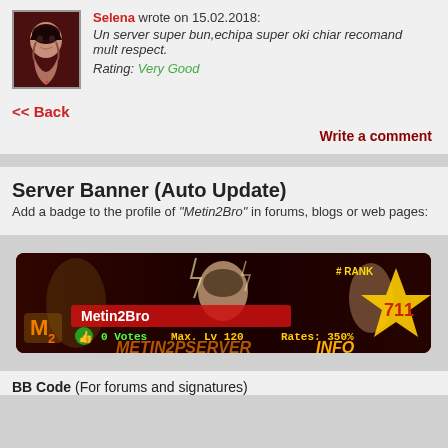Selena wrote on 15.02.2018: Un server super bun,echipa super oki chiar recomand mult respect. Rating: Very Good
<< Back
Write a comment
Server Banner (Auto Update)
Add a badge to the profile of "Metin2Bro" in forums, blogs or web pages:
[Figure (illustration): Metin2Bro server banner showing characters, rank #711, 0 Votes, Max. Lv 120, Rates: 350%, Metin2PServer.info branding]
BB Code (For forums and signatures)